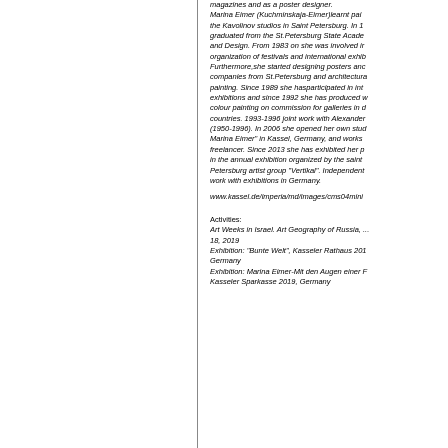magazines and as a poster designer. Marina Eimer (Kuchminskaja-Eimer)learnt painting at the Kavolinov studios in Saint Petersburg. In 1... graduated from the St.Petersburg State Academy... and Design. From 1983 on she was involved in... organization of festivals and international exhibitions. Furthermore,she started designing posters and... companies from St.Petersburg and architectural... painting. Since 1989 she hasparticipated in international exhibitions and since 1992 she has produced water colour painting on commission for galleries in different countries. 1993-1996 joint work with Alexander... (1950-1996). In 2006 she opened her own studio 'Marina Eimer' in Kassel, Germany, and works as a freelancer. Since 2013 she has exhibited her paintings in the annual exhibition organized by the saint Petersburg artist group 'Vertikal'. Independent work with exhibitions in Germany.
www.kassel.de/imperia/md/images/cms04mini...
Activities: Art Weeks in Israel. Art Geography of Russia, ... 18, 2019 Exhibition: "Bunte Welt", Kasseler Rathaus 201... Germany Exhibition: Marina Eimer-Mit den Augen einer ... Kasseler Sparkasse 2019, Germany